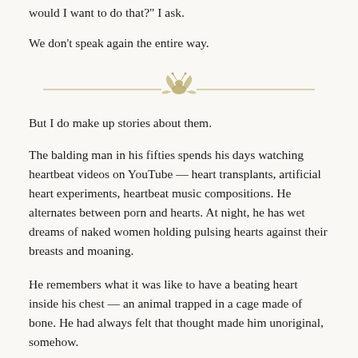“would I want to do that?” I ask.
We don’t speak again the entire way.
[Figure (illustration): Decorative chapter divider with horizontal lines and a small ornamental illustration in the center, rendered in golden/olive tones.]
But I do make up stories about them.
The balding man in his fifties spends his days watching heartbeat videos on YouTube — heart transplants, artificial heart experiments, heartbeat music compositions. He alternates between porn and hearts. At night, he has wet dreams of naked women holding pulsing hearts against their breasts and moaning.
He remembers what it was like to have a beating heart inside his chest — an animal trapped in a cage made of bone. He had always felt that thought made him unoriginal, somehow.